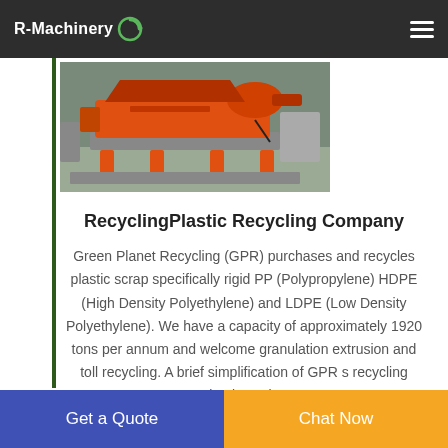R-Machinery
[Figure (photo): An orange industrial recycling/shredding machine mounted on a metal frame, photographed in a warehouse or factory setting.]
RecyclingPlastic Recycling Company
Green Planet Recycling (GPR) purchases and recycles plastic scrap specifically rigid PP (Polypropylene) HDPE (High Density Polyethylene) and LDPE (Low Density Polyethylene). We have a capacity of approximately 1920 tons per annum and welcome granulation extrusion and toll recycling. A brief simplification of GPR s recycling business is
Get a Quote | Chat Now